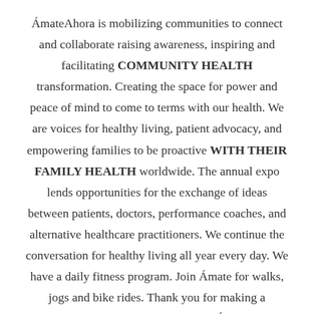ÁmateAhora is mobilizing communities to connect and collaborate raising awareness, inspiring and facilitating COMMUNITY HEALTH transformation. Creating the space for power and peace of mind to come to terms with our health. We are voices for healthy living, patient advocacy, and empowering families to be proactive WITH THEIR FAMILY HEALTH worldwide. The annual expo lends opportunities for the exchange of ideas between patients, doctors, performance coaches, and alternative healthcare practitioners. We continue the conversation for healthy living all year every day. We have a daily fitness program. Join Ámate for walks, jogs and bike rides. Thank you for making a difference. Your generosity helps the Ámate Ahora Movement help the millions living with disease and the million more who are at risk. ÁmateAhora wants to continue developing relationships with organizations like you that are committed and willing to work with ÁmateAhora. To elevate a sense of urgency around